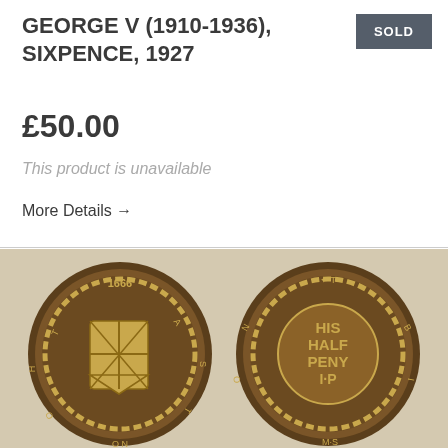GEORGE V (1910-1936), SIXPENCE, 1927
£50.00
This product is unavailable
More Details →
[Figure (photo): Two ancient coins shown side by side. Left coin shows a heraldic shield with the date 1666 and inscription around the edge. Right coin shows text reading HIS HALF PENY I·P with inscription around the edge. Both coins are bronze/copper colored with dark patina.]